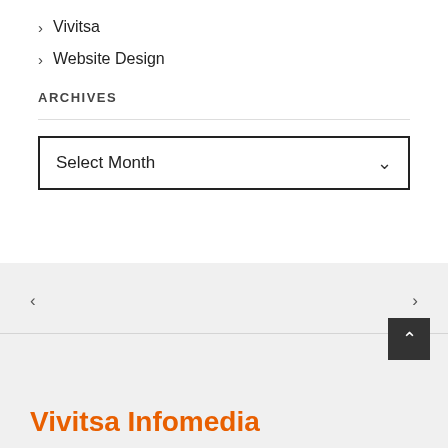> Vivitsa
> Website Design
ARCHIVES
Select Month
<
>
Vivitsa Infomedia